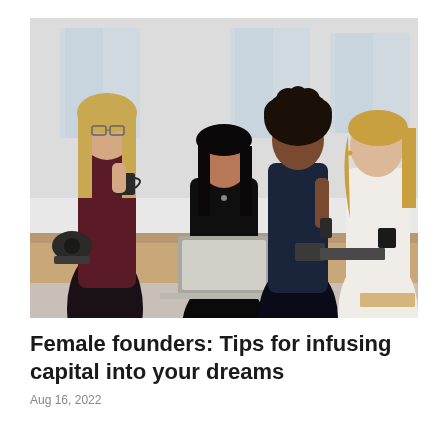[Figure (photo): Four women standing around a desk with a laptop. One woman on the far left holds a coffee mug and wears glasses and a dark top. A second woman sits in the center behind the laptop wearing dark clothing. A third woman with curly hair stands behind the desk in a dark sleeveless blouse. A fourth woman on the far right wears a white sleeveless top. The setting appears to be a bright office or studio with white walls.]
Female founders: Tips for infusing capital into your dreams
Aug 16, 2022